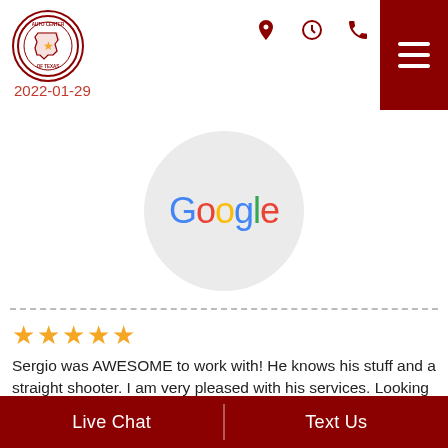Auto Center of Texas — 2022-01-29
[Figure (logo): Auto Center of Texas circular logo with Texas state outline and star]
2022-01-29
[Figure (logo): Google logo displayed in a gray circle — Google in multicolor letters]
★★★★★ Sergio was AWESOME to work with! He knows his stuff and a straight shooter. I am very pleased with his services. Looking to but give him a try!
Lakeylia Blaine
2022-05-14
Live Chat | Text Us